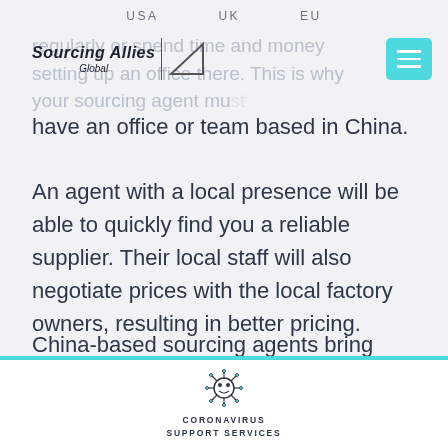USA   UK   EU
regularly or spend time and money setting up an office there. This is why your sourcing agent must have an office or team based in China.
An agent with a local presence will be able to quickly find you a reliable supplier. Their local staff will also negotiate prices with the local factory owners, resulting in better pricing.
China-based sourcing agents bring several other advantages with them. They will be able to steer you
[Figure (logo): Coronavirus Support Services logo with virus icon and text]
CORONAVIRUS SUPPORT SERVICES